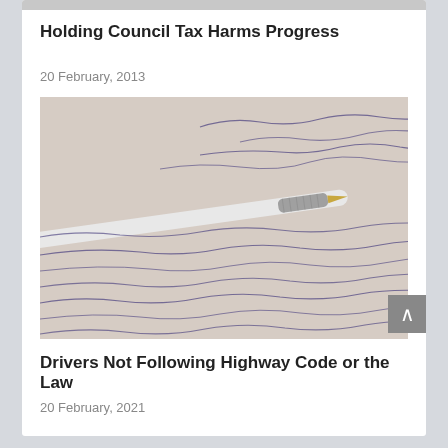Holding Council Tax Harms Progress
20 February, 2013
[Figure (photo): A ballpoint pen resting on a page covered in cursive handwriting, viewed at an angle.]
Drivers Not Following Highway Code or the Law
20 February, 2021